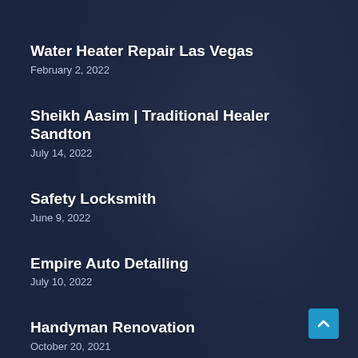Water Heater Repair Las Vegas
February 2, 2022
Sheikh Aasim | Traditional Healer Sandton
July 14, 2022
Safety Locksmith
June 9, 2022
Empire Auto Detailing
July 10, 2022
Handyman Renovation
October 20, 2021